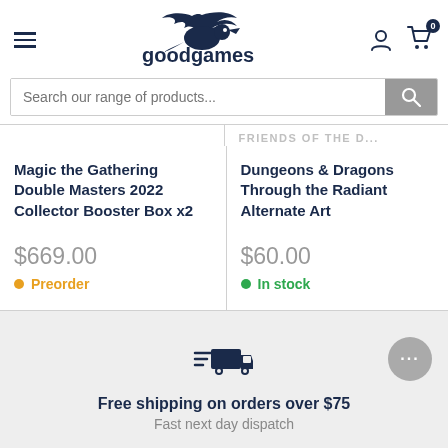goodgames (navigation header with hamburger menu, logo, user icon, and cart with 0 items)
Search our range of products...
Magic the Gathering Double Masters 2022 Collector Booster Box x2
$669.00
Preorder
Dungeons & Dragons Through the Radiant Alternate Art
$60.00
In stock
Free shipping on orders over $75
Fast next day dispatch